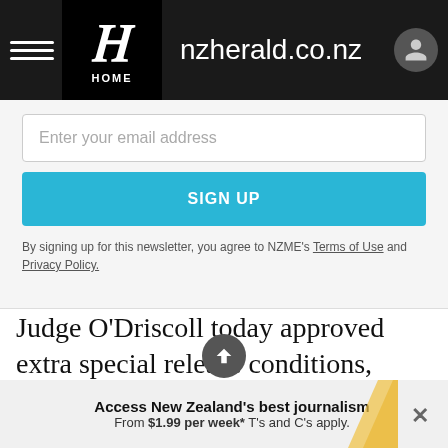[Figure (screenshot): NZ Herald website navigation bar with hamburger menu, Herald logo (H) with HOME text, nzherald.co.nz site name, and user account icon]
Enter your email address
SIGN UP
By signing up for this newsletter, you agree to NZME's Terms of Use and Privacy Policy.
Judge O'Driscoll today approved extra special release conditions, which includes a ban on Arps entering or loitering near any mosque, prayer room, or any other place where the Muslim community congregates
Access New Zealand's best journalism From $1.99 per week* T's and C's apply.